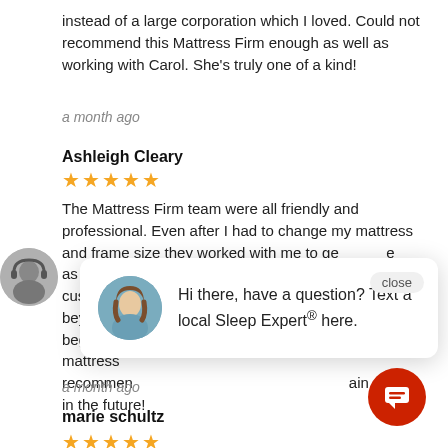instead of a large corporation which I loved. Could not recommend this Mattress Firm enough as well as working with Carol. She’s truly one of a kind!
a month ago
Ashleigh Cleary
★★★★★
The Mattress Firm team were all friendly and professional. Even after I had to change my mattress and frame size they worked with me to get the right one as soon as possible from the manufacturer. The customer service team went truly above and beyond, especially Carol who was there from the beginning to the end to ensure I received my mattress in a timely manner. Would highly recommend and will definitely be shopping again in the future!
a month ago
marie schultz
★★★★★
[Figure (screenshot): Chat popup with female avatar, showing message: Hi there, have a question? Text a local Sleep Expert® here. A close button is in top right of popup.]
[Figure (illustration): Red circular chat button with message icon in bottom right corner]
[Figure (photo): Small circular avatar of a person with headphones on left side of page]